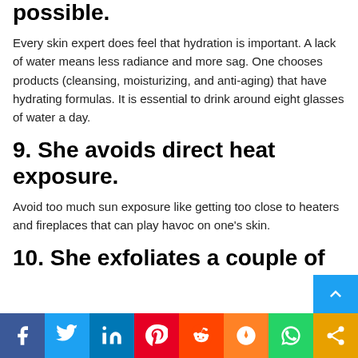possible.
Every skin expert does feel that hydration is important. A lack of water means less radiance and more sag. One chooses products (cleansing, moisturizing, and anti-aging) that have hydrating formulas. It is essential to drink around eight glasses of water a day.
9. She avoids direct heat exposure.
Avoid too much sun exposure like getting too close to heaters and fireplaces that can play havoc on one's skin.
10. She exfoliates a couple of
f  t  in  p  reddit  m  WhatsApp  share